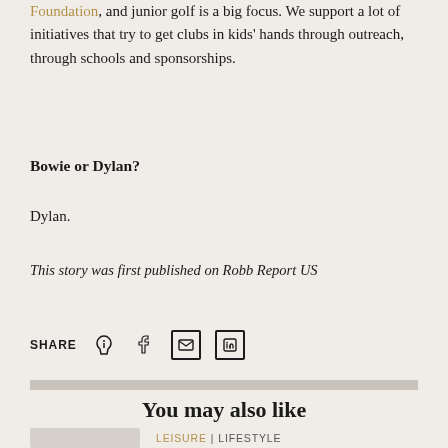Foundation, and junior golf is a big focus. We support a lot of initiatives that try to get clubs in kids' hands through outreach, through schools and sponsorships.
Bowie or Dylan?
Dylan.
This story was first published on Robb Report US
SHARE [icons: phone, facebook, email, linkedin]
You may also like
LEISURE | LIFESTYLE